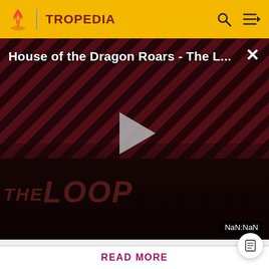TROPEDIA
[Figure (screenshot): Video thumbnail for 'House of the Dragon Roars - The L...' with diagonal stripe background, two figures visible, large play button in center, 'THE LOOP' text overlay at bottom left, 'NaN:NaN' timer badge at bottom right]
intelligent, mostly want to be left alone, and are
Before making a single edit, Tropedia EXPECTS our site policy and manual of style to be followed. Failure to do so may
READ MORE